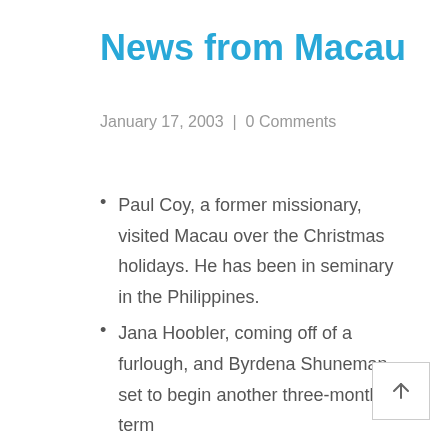News from Macau
January 17, 2003  |  0 Comments
Paul Coy, a former missionary, visited Macau over the Christmas holidays. He has been in seminary in the Philippines.
Jana Hoobler, coming off of a furlough, and Byrdena Shuneman, set to begin another three-month term